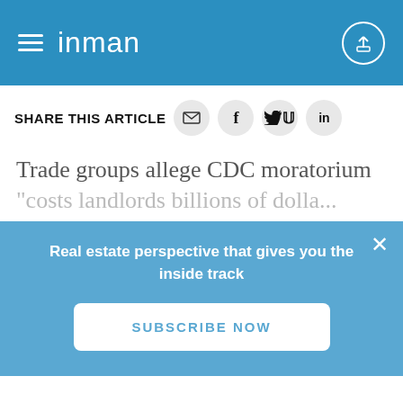inman
SHARE THIS ARTICLE
Trade groups allege CDC moratorium "costs landlords billions of dollars in..."
Real estate perspective that gives you the inside track
SUBSCRIBE NOW